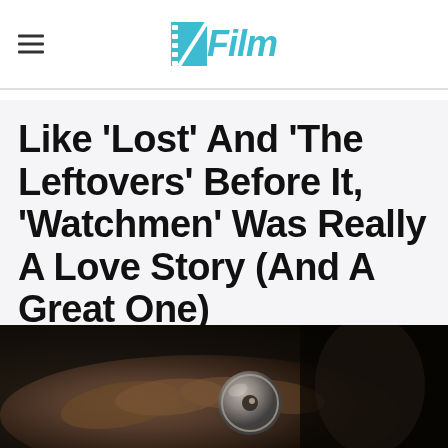/Film
Like 'Lost' And 'The Leftovers' Before It, 'Watchmen' Was Really A Love Story (And A Great One)
[Figure (photo): Dark cinematic still from Watchmen TV series showing hands holding a round metallic object, close-up shot with shallow depth of field and dark background]